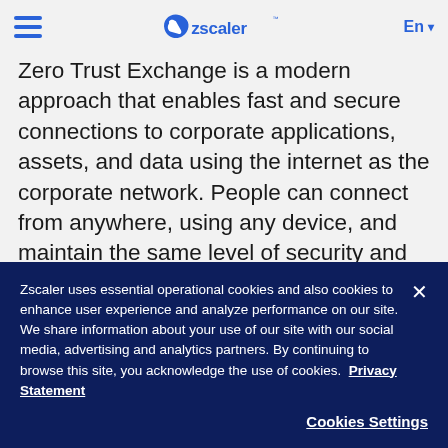Zscaler navigation bar with hamburger menu, Zscaler logo, and language selector (En)
Zero Trust Exchange is a modern approach that enables fast and secure connections to corporate applications, assets, and data using the internet as the corporate network. People can connect from anywhere, using any device, and maintain the same level of security and data protection. The zero trust principle of least-privileged access provides comprehensive security using context-based identity and policy enforcement.
Zscaler uses essential operational cookies and also cookies to enhance user experience and analyze performance on our site. We share information about your use of our site with our social media, advertising and analytics partners. By continuing to browse this site, you acknowledge the use of cookies. Privacy Statement
Cookies Settings